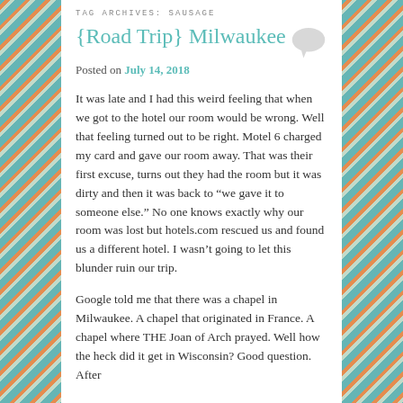TAG ARCHIVES: SAUSAGE
{Road Trip} Milwaukee
Posted on July 14, 2018
It was late and I had this weird feeling that when we got to the hotel our room would be wrong. Well that feeling turned out to be right. Motel 6 charged my card and gave our room away. That was their first excuse, turns out they had the room but it was dirty and then it was back to “we gave it to someone else.” No one knows exactly why our room was lost but hotels.com rescued us and found us a different hotel. I wasn’t going to let this blunder ruin our trip.
Google told me that there was a chapel in Milwaukee. A chapel that originated in France. A chapel where THE Joan of Arch prayed. Well how the heck did it get in Wisconsin? Good question. After